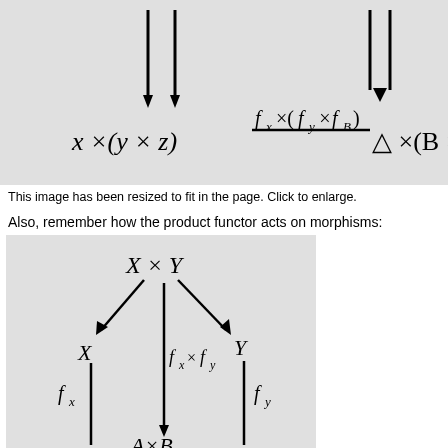[Figure (other): Handwritten commutative diagram showing morphisms with labels x×(y×z), f_x×(f_y×f_z), and A×(B×C) with arrows pointing downward]
This image has been resized to fit in the page. Click to enlarge.
Also, remember how the product functor acts on morphisms:
[Figure (other): Handwritten commutative diagram showing product functor acting on morphisms: X×Y at top, with arrows down-left to X and down-right to Y, middle arrow labeled f_x×f_y going down to A×B, left arrow labeled f_x, right arrow labeled f_y]